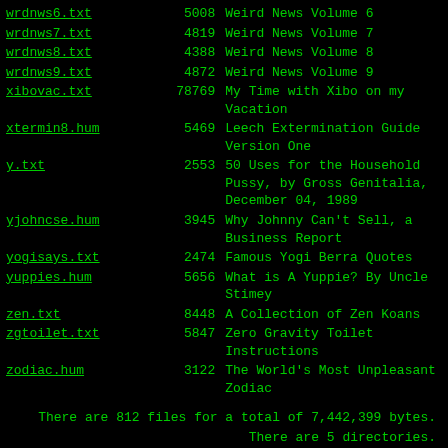| filename | size | description |
| --- | --- | --- |
| wrdnws6.txt | 5008 | Weird News Volume 6 |
| wrdnws7.txt | 4819 | Weird News Volume 7 |
| wrdnws8.txt | 4388 | Weird News Volume 8 |
| wrdnws9.txt | 4872 | Weird News Volume 9 |
| xibovac.txt | 78769 | My Time with Xibo on my Vacation |
| xtermin8.hum | 5469 | Leech Extermination Guide Version One |
| y.txt | 2553 | 50 Uses for the Household Pussy, by Gross Genitalia, December 04, 1989 |
| yjohncse.hum | 3945 | Why Johnny Can't Sell, a Business Report |
| yogisays.txt | 2474 | Famous Yogi Berra Quotes |
| yuppies.hum | 5656 | What is A Yuppie? By Uncle Stimey |
| zen.txt | 8448 | A Collection of Zen Koans |
| zgtoilet.txt | 5847 | Zero Gravity Toilet Instructions |
| zodiac.hum | 3122 | The World's Most Unpleasant Zodiac |
There are 812 files for a total of 7,442,399 bytes.
There are 5 directories.